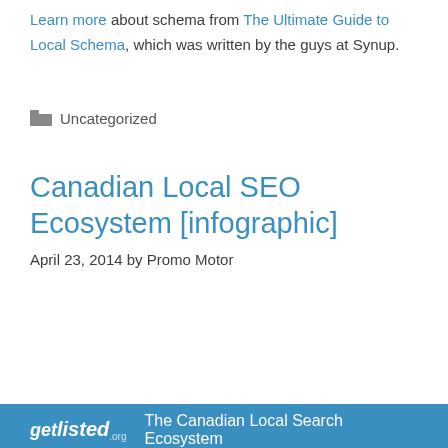Learn more about schema from The Ultimate Guide to Local Schema, which was written by the guys at Synup.
Uncategorized
Canadian Local SEO Ecosystem [infographic]
April 23, 2014 by Promo Motor
[Figure (infographic): Banner showing getlisted.org logo and text 'The Canadian Local Search Ecosystem' on a blue background]